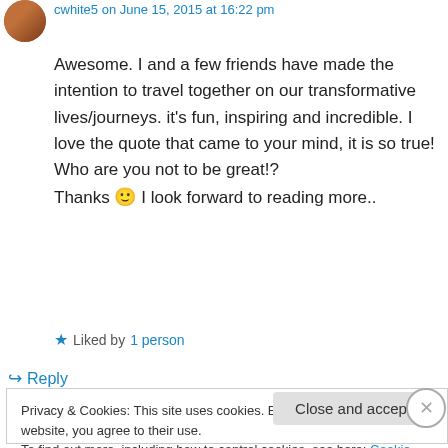cwhite5 on June 15, 2015 at 16:22 pm
Awesome. I and a few friends have made the intention to travel together on our transformative lives/journeys. it's fun, inspiring and incredible. I love the quote that came to your mind, it is so true! Who are you not to be great!? Thanks 🙂 I look forward to reading more..
★ Liked by 1 person
↪ Reply
Privacy & Cookies: This site uses cookies. By continuing to use this website, you agree to their use.
To find out more, including how to control cookies, see here: Cookie Policy
Close and accept